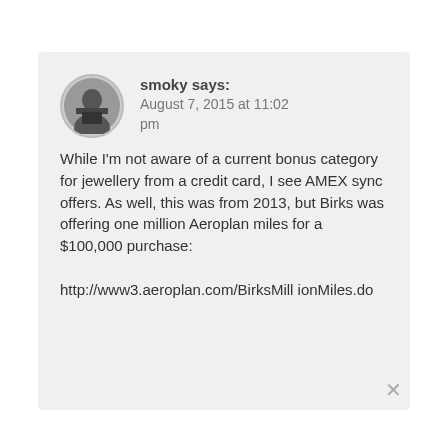[Figure (photo): Circular avatar photo of user 'smoky' showing a dark image]
smoky says:
August 7, 2015 at 11:02 pm
While I'm not aware of a current bonus category for jewellery from a credit card, I see AMEX sync offers. As well, this was from 2013, but Birks was offering one million Aeroplan miles for a $100,000 purchase:

http://www3.aeroplan.com/BirksMillionMiles.do